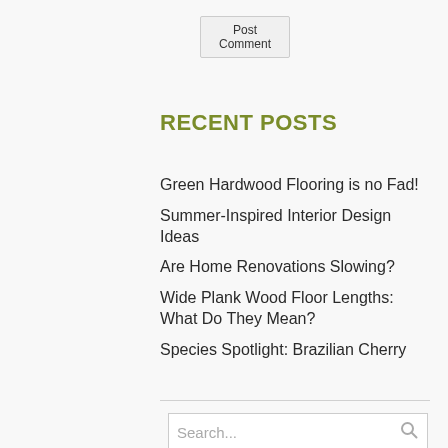Post Comment
RECENT POSTS
Green Hardwood Flooring is no Fad!
Summer-Inspired Interior Design Ideas
Are Home Renovations Slowing?
Wide Plank Wood Floor Lengths: What Do They Mean?
Species Spotlight: Brazilian Cherry
Search...